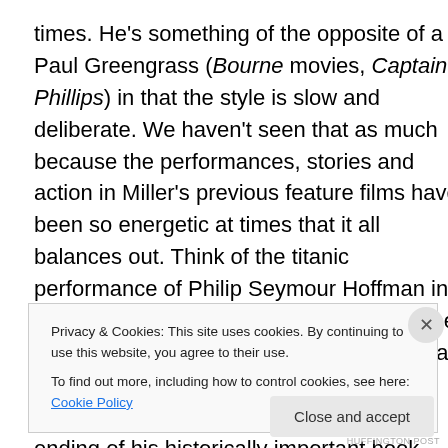times. He's something of the opposite of a Paul Greengrass (Bourne movies, Captain Phillips) in that the style is slow and deliberate. We haven't seen that as much because the performances, stories and action in Miller's previous feature films have been so energetic at times that it all balances out. Think of the titanic performance of Philip Seymour Hoffman in Capote, along with the wonderful Catherine Keener. Add to them the murders in Kansas and the tension between real life legal events and Capote's struggles with the ending of his historically important book. Then think of the rousing story of
Privacy & Cookies: This site uses cookies. By continuing to use this website, you agree to their use.
To find out more, including how to control cookies, see here: Cookie Policy